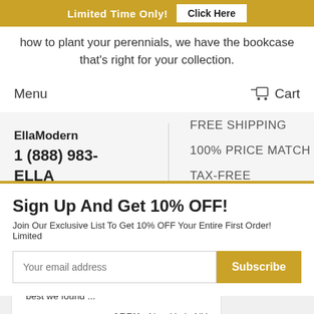Limited Time Only! Click Here
how to plant your perennials, we have the bookcase that's right for your collection.
Menu  Cart
EllaModern
1 (888) 983-ELLA
FREE SHIPPING
100% PRICE MATCH
TAX-FREE SHOPPING
Sign Up And Get 10% OFF!
Join Our Exclusive List To Get 10% OFF Your Entire First Order! Limited
Your email address
Subscribe
Christian was terrific to work with; very professional and helpful. The price was the best we found ...
ABBY - New York, NY